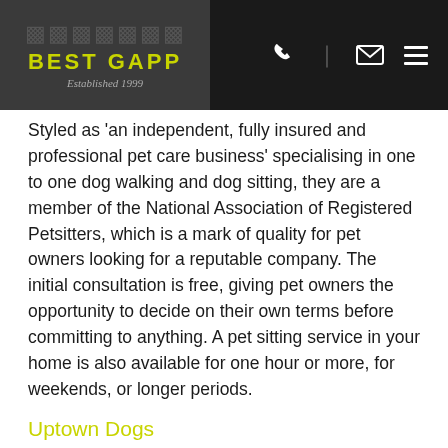BEST GAPP Established 1999
Styled as 'an independent, fully insured and professional pet care business' specialising in one to one dog walking and dog sitting, they are a member of the National Association of Registered Petsitters, which is a mark of quality for pet owners looking for a reputable company. The initial consultation is free, giving pet owners the opportunity to decide on their own terms before committing to anything. A pet sitting service in your home is also available for one hour or more, for weekends, or longer periods.
Uptown Dogs
Do you have one dog or three? It doesn't matter with Uptown Dogs, who provide a service across Belgravia. They can provide 'doggy day care' for when you need someone to take the reins, while their dog walking service